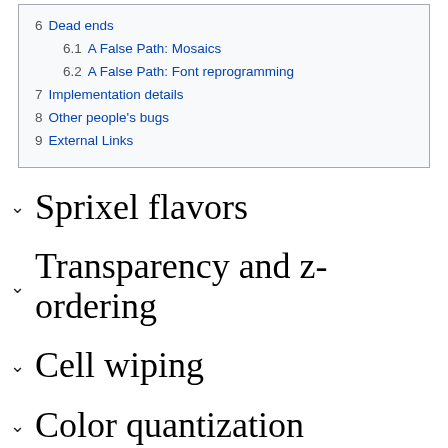6  Dead ends
6.1  A False Path: Mosaics
6.2  A False Path: Font reprogramming
7  Implementation details
8  Other people's bugs
9  External Links
Sprixel flavors
Transparency and z-ordering
Cell wiping
Color quantization